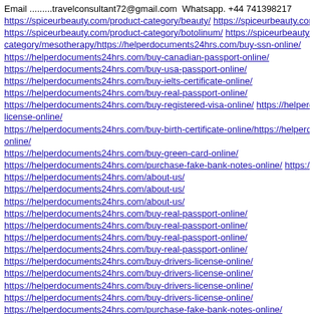Email .........travelconsultant72@gmail.com  Whatsapp. +44 741398217
https://spiceurbeauty.com/product-category/beauty/ https://spiceurbeauty.com/product-category/botolinum/ https://spiceurbeauty.com/product-category/mesotherapy/https://helperdocuments24hrs.com/buy-ssn-online/
https://helperdocuments24hrs.com/buy-canadian-passport-online/
https://helperdocuments24hrs.com/buy-usa-passport-online/
https://helperdocuments24hrs.com/buy-ielts-certificate-online/
https://helperdocuments24hrs.com/buy-real-passport-online/
https://helperdocuments24hrs.com/buy-registered-visa-online/ https://helperdocuments24hrs.com/buy-drivers-license-online/
https://helperdocuments24hrs.com/buy-birth-certificate-online/https://helperdocuments24hrs.com/buy-drivers-license-online/
https://helperdocuments24hrs.com/buy-green-card-online/
https://helperdocuments24hrs.com/purchase-fake-bank-notes-online/ https://helperdocuments24hrs.com/about-us/
https://helperdocuments24hrs.com/about-us/
https://helperdocuments24hrs.com/about-us/
https://helperdocuments24hrs.com/buy-real-passport-online/
https://helperdocuments24hrs.com/buy-real-passport-online/
https://helperdocuments24hrs.com/buy-real-passport-online/
https://helperdocuments24hrs.com/buy-real-passport-online/
https://helperdocuments24hrs.com/buy-drivers-license-online/
https://helperdocuments24hrs.com/buy-drivers-license-online/
https://helperdocuments24hrs.com/buy-drivers-license-online/
https://helperdocuments24hrs.com/buy-drivers-license-online/
https://helperdocuments24hrs.com/purchase-fake-bank-notes-online/
https://helperdocuments24hrs.com/purchase-fake-bank-notes-online/
https://helperdocuments24hrs.com/purchase-fake-bank-notes-online/
https://helperdocuments24hrs.com/purchase-fake-bank-notes-online/
https://helperdocuments24hrs.com/buy-green-card-online/